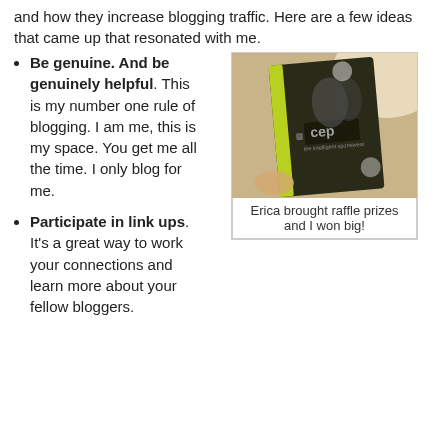and how they increase blogging traffic. Here are a few ideas that came up that resonated with me.
Be genuine. And be genuinely helpful. This is my number one rule of blogging. I am me, this is my space. You get me all the time. I only blog for me.
[Figure (photo): A CEP sportswear product box being held, showing runners on the packaging. Photographed on a wooden surface.]
Erica brought raffle prizes and I won big!
Participate in link ups. It's a great way to work your connections and learn more about your fellow bloggers.